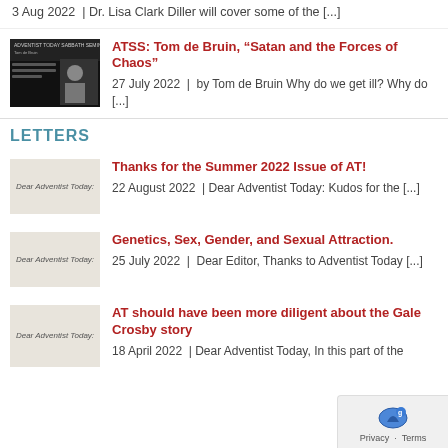3 Aug 2022 | Dr. Lisa Clark Diller will cover some of the [...]
[Figure (screenshot): ATSS Sabbath Seminar thumbnail showing a person with text overlay]
ATSS: Tom de Bruin, “Satan and the Forces of Chaos”
27 July 2022 | by Tom de Bruin Why do we get ill? Why do [...]
LETTERS
[Figure (screenshot): Dear Adventist Today letter thumbnail]
Thanks for the Summer 2022 Issue of AT!
22 August 2022 | Dear Adventist Today: Kudos for the [...]
[Figure (screenshot): Dear Adventist Today letter thumbnail]
Genetics, Sex, Gender, and Sexual Attraction.
25 July 2022 | Dear Editor, Thanks to Adventist Today [...]
[Figure (screenshot): Dear Adventist Today letter thumbnail]
AT should have been more diligent about the Gale Crosby story
18 April 2022 | Dear Adventist Today, In this part of the